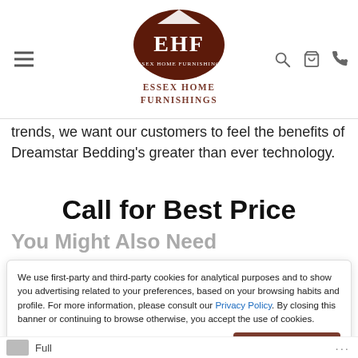[Figure (logo): Essex Home Furnishings logo: dark brown oval with EHF monogram and company name, below which 'Essex Home Furnishings' is written in serif text]
trends, we want our customers to feel the benefits of Dreamstar Bedding's greater than ever technology.
Call for Best Price
You Might Also Need
We use first-party and third-party cookies for analytical purposes and to show you advertising related to your preferences, based on your browsing habits and profile. For more information, please consult our Privacy Policy. By closing this banner or continuing to browse otherwise, you accept the use of cookies.
I UNDERSTAND
Full